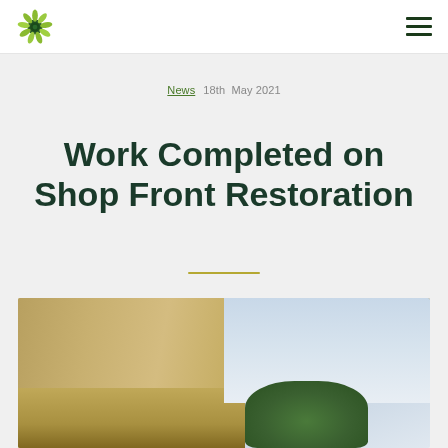Logo and navigation menu
News  18th May 2021
Work Completed on Shop Front Restoration
[Figure (photo): Exterior photograph of a stone classical building facade with ornate architectural details, trees visible, and a partly cloudy sky in the background]